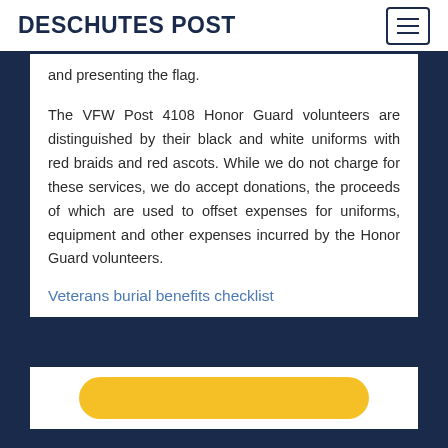DESCHUTES POST
and presenting the flag.
The VFW Post 4108 Honor Guard volunteers are distinguished by their black and white uniforms with red braids and red ascots. While we do not charge for these services, we do accept donations, the proceeds of which are used to offset expenses for uniforms, equipment and other expenses incurred by the Honor Guard volunteers.
Veterans burial benefits checklist